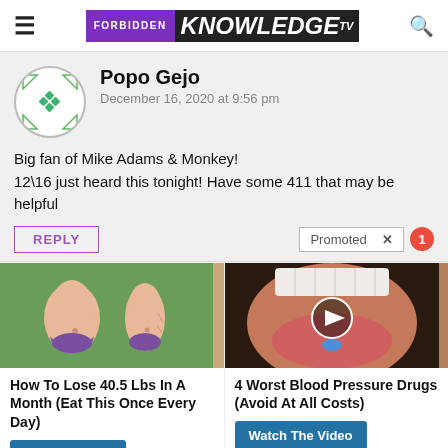FORBIDDEN KNOWLEDGE TV
Popo Gejo
December 16, 2020 at 9:56 pm
Big fan of Mike Adams & Monkey!
12\16 just heard this tonight! Have some 411 that may be helpful
REPLY | Promoted X
[Figure (illustration): Ad image: cartoon illustration of weight loss before/after body]
How To Lose 40.5 Lbs In A Month (Eat This Once Every Day)
Find Out More
[Figure (photo): Ad image: close-up photo of mouth with tongue out holding a blue pill, with play button overlay]
4 Worst Blood Pressure Drugs (Avoid At All Costs)
Watch The Video